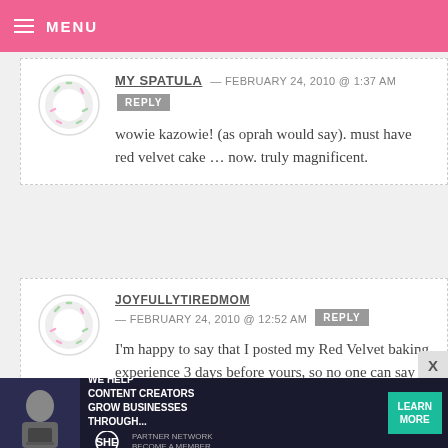MENU
MY SPATULA — FEBRUARY 24, 2010 @ 1:37 AM
REPLY
wowie kazowie! (as oprah would say). must have red velvet cake … now. truly magnificent.
JOYFULLYTIREDMOM — FEBRUARY 24, 2010 @ 12:52 AM
REPLY
I'm happy to say that I posted my Red Velvet baking experience 3 days before yours, so no one can say that I'm
[Figure (infographic): SHE Partner Network ad banner: WE HELP CONTENT CREATORS GROW BUSINESSES THROUGH... with LEARN MORE button]